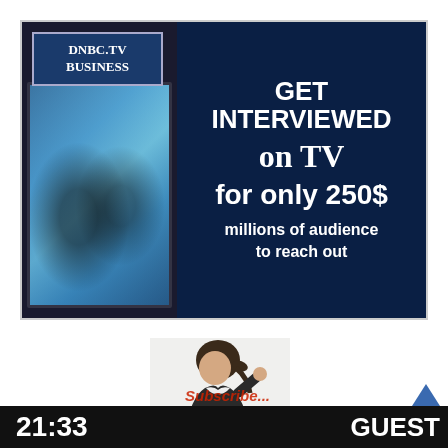[Figure (infographic): DNBC.TV Business advertisement banner showing a TV camera on the left with a blue-tinted interview scene on screen, and dark navy blue background on the right with text: GET INTERVIEWED on TV for only 250$ millions of audience to reach out]
[Figure (photo): Partial image of a person with dark hair in a ponytail, wearing a dark jacket, appearing to write or look downward]
21:33
GUEST